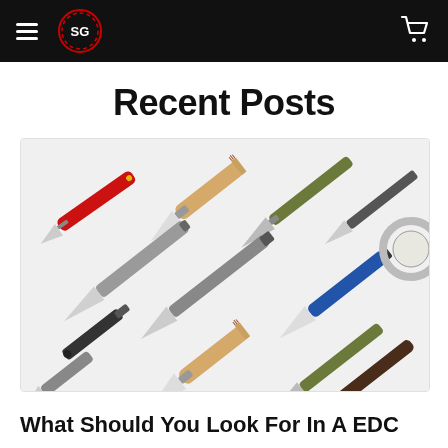SG (logo) — navigation header with hamburger menu and cart icon
Recent Posts
[Figure (photo): Flat-lay photo of multiple folding and fixed-blade pocket knives arranged diagonally on a white background, including knives with red, wood, olive, blue, and dark handles.]
What Should You Look For In A EDC